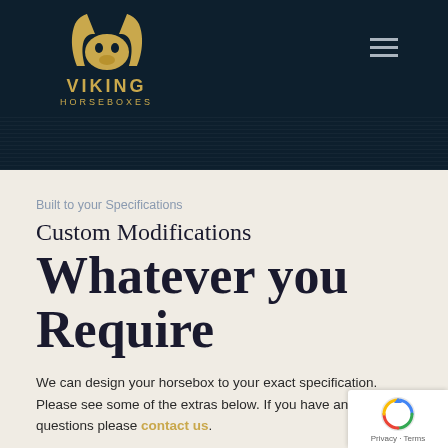[Figure (logo): Viking Horseboxes logo with golden horned helmet icon, gold text VIKING HORSEBOXES on dark navy background]
Built to your Specifications
Custom Modifications
Whatever you Require
We can design your horsebox to your exact specification. Please see some of the extras below. If you have any further questions please contact us.